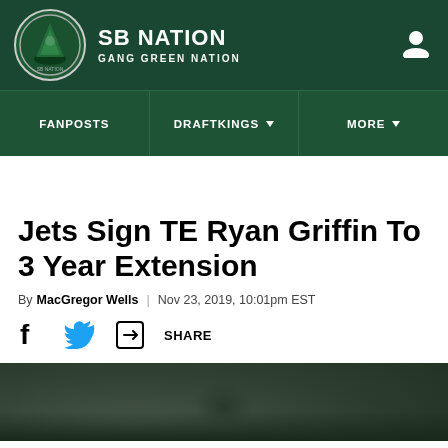SB NATION / GANG GREEN NATION
Jets Sign TE Ryan Griffin To 3 Year Extension
By MacGregor Wells | Nov 23, 2019, 10:01pm EST
[Figure (photo): Blurred crowd/stadium photo at bottom of page]